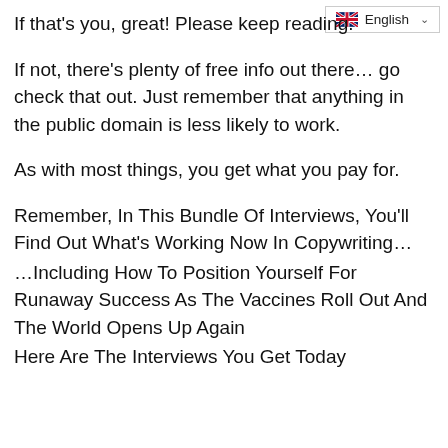[Figure (other): Language selector UI element showing UK flag and 'English' text with chevron dropdown arrow]
If that's you, great! Please keep reading.
If not, there's plenty of free info out there… go check that out. Just remember that anything in the public domain is less likely to work.
As with most things, you get what you pay for.
Remember, In This Bundle Of Interviews, You'll Find Out What's Working Now In Copywriting… …Including How To Position Yourself For Runaway Success As The Vaccines Roll Out And The World Opens Up Again
Here Are The Interviews You Get Today